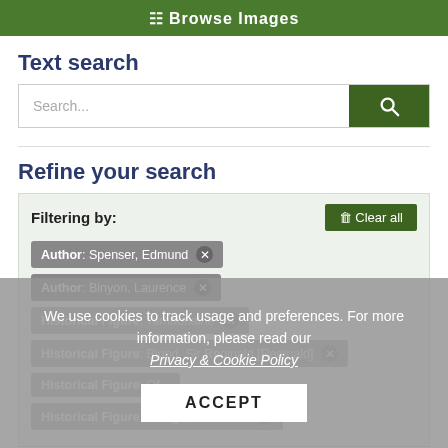Browse Images
Text search
Search...
Refine your search
Filtering by:
Author: Spenser, Edmund
Author: Binyon, Laurence
Historical Figure: [partially visible]
Historical Figure: [Reginald]
Historical Figure: Of...
Historical Figure: Ralegh, Sir Walter
We use cookies to track usage and preferences. For more information, please read our Privacy & Cookie Policy
ACCEPT